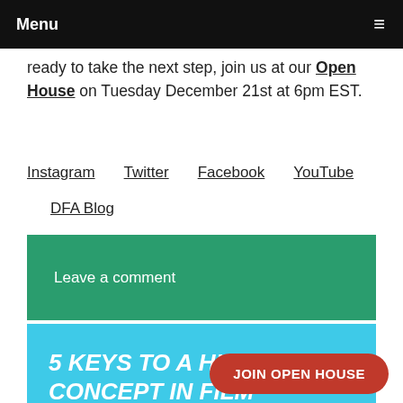Menu
ready to take the next step, join us at our Open House on Tuesday December 21st at 6pm EST.
Instagram   Twitter   Facebook   YouTube   DFA Blog
Leave a comment
5 KEYS TO A HIGH CONCEPT IN FILM
June 16, 2016   Films ,   Sara McDe...
Screenwriting   dfanyc ,   Digital Film Academy ,